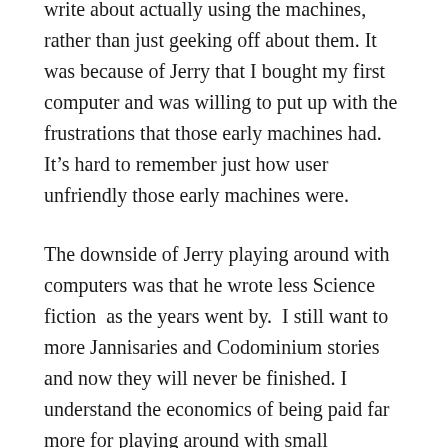write about actually using the machines, rather than just geeking off about them. It was because of Jerry that I bought my first computer and was willing to put up with the frustrations that those early machines had. It’s hard to remember just how user unfriendly those early machines were.
The downside of Jerry playing around with computers was that he wrote less Science fiction  as the years went by. I still want to more Jannisaries and Codominium stories and now they will never be finished. I understand the economics of being paid far more for playing around with small computers and writing about it for a million subscribers and how addictive small computers are. I know